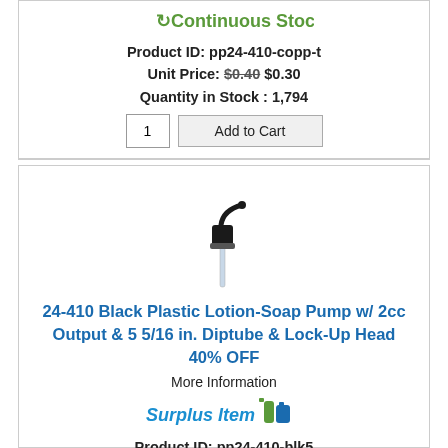[Figure (logo): Continuous Stock logo with green arrows and text]
Product ID: pp24-410-copp-t
Unit Price: $0.40 $0.30
Quantity in Stock : 1,794
[Figure (photo): Black plastic lotion-soap pump with clear diptube]
24-410 Black Plastic Lotion-Soap Pump w/ 2cc Output & 5 5/16 in. Diptube & Lock-Up Head 40% OFF
More Information
[Figure (logo): Surplus Item logo with green bottles icon]
Product ID: pp24-410-blk5
Unit Price: $0.65 $0.48
Quantity in Stock : 2,000